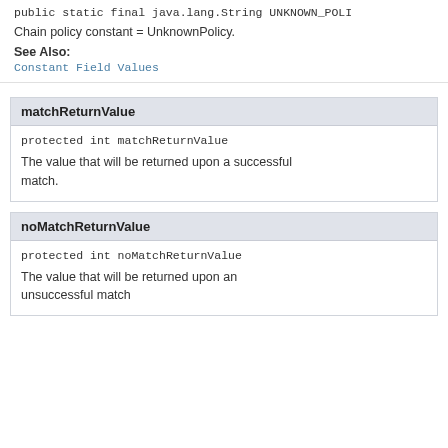public static final java.lang.String UNKNOWN_POLI
Chain policy constant = UnknownPolicy.
See Also:
Constant Field Values
matchReturnValue
protected int matchReturnValue
The value that will be returned upon a successful match.
noMatchReturnValue
protected int noMatchReturnValue
The value that will be returned upon an unsuccessful match